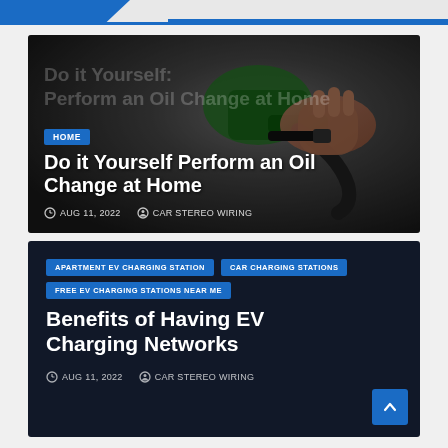[Figure (photo): Close-up photo of a hand holding a green gas pump nozzle, dark background]
HOME
Do it Yourself Perform an Oil Change at Home
AUG 11, 2022  CAR STEREO WIRING
[Figure (other): Dark card with EV charging station category tags]
APARTMENT EV CHARGING STATION  CAR CHARGING STATIONS  FREE EV CHARGING STATIONS NEAR ME
Benefits of Having EV Charging Networks
AUG 11, 2022  CAR STEREO WIRING